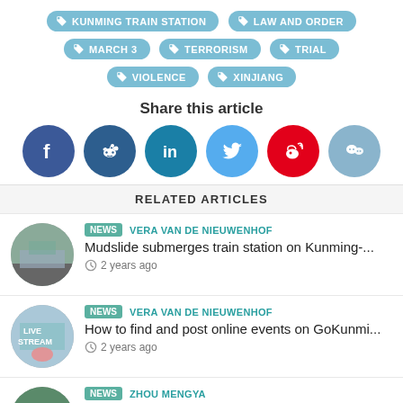KUNMING TRAIN STATION
LAW AND ORDER
MARCH 3
TERRORISM
TRIAL
VIOLENCE
XINJIANG
Share this article
[Figure (infographic): Social media share buttons: Facebook, Reddit, LinkedIn, Twitter, Weibo, WeChat]
RELATED ARTICLES
NEWS  VERA VAN DE NIEUWENHOF
Mudslide submerges train station on Kunming-...
2 years ago
NEWS  VERA VAN DE NIEUWENHOF
How to find and post online events on GoKunmi...
2 years ago
NEWS  ZHOU MENGYA
China-Laos railway now connecting cities of Ku...